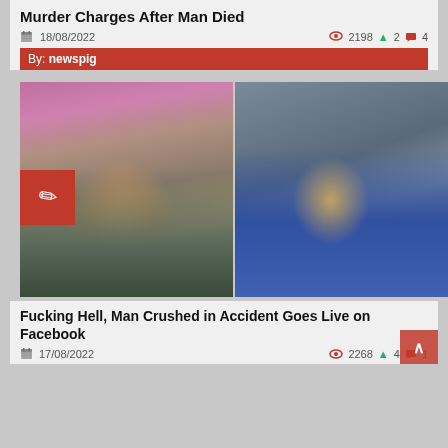Murder Charges After Man Died
18/08/2022   2198  2  4
By: newspig
[Figure (photo): Two side-by-side photos of a man: left photo shows a man looking up at the camera in a selfie-style shot with pink clothing visible in background; right photo shows the same man slumped over in a vehicle seat wearing a blue jacket with earphones]
Fucking Hell, Man Crushed in Accident Goes Live on Facebook
17/08/2022   2268  4  1